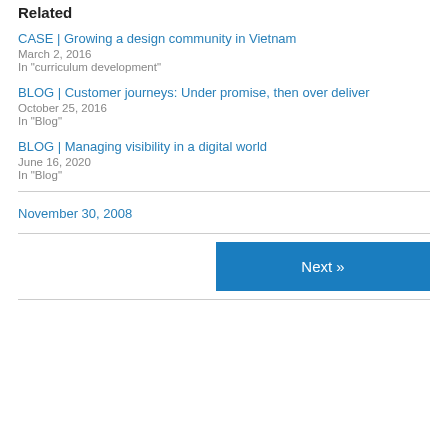Related
CASE | Growing a design community in Vietnam
March 2, 2016
In “curriculum development”
BLOG | Customer journeys: Under promise, then over deliver
October 25, 2016
In “Blog”
BLOG | Managing visibility in a digital world
June 16, 2020
In “Blog”
November 30, 2008
Next »